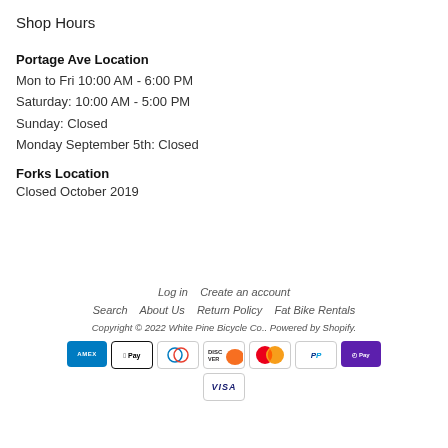Shop Hours
Portage Ave Location
Mon to Fri 10:00 AM - 6:00 PM
Saturday: 10:00 AM - 5:00 PM
Sunday: Closed
Monday September 5th: Closed
Forks Location
Closed October 2019
Log in   Create an account
Search   About Us   Return Policy   Fat Bike Rentals
Copyright © 2022 White Pine Bicycle Co.. Powered by Shopify.